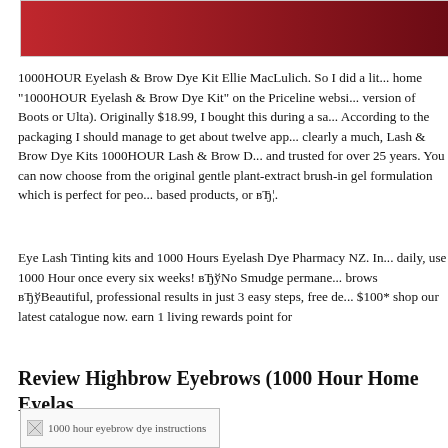[Figure (photo): Banner image with dark red/crimson gradient background]
1000HOUR Eyelash & Brow Dye Kit Ellie MacLulich. So I did a little research at home "1000HOUR Eyelash & Brow Dye Kit" on the Priceline website (Australia's version of Boots or Ulta). Originally $18.99, I bought this during a sa... According to the packaging I should manage to get about twelve app... clearly a much, Lash & Brow Dye Kits 1000HOUR Lash & Brow D... and trusted for over 25 years. You can now choose from the original gentle plant-extract brush-in gel formulation which is perfect for peo... based products, or вЂ¦.
Eye Lash Tinting kits and 1000 Hours Eyelash Dye Pharmacy NZ. In... daily, use 1000 Hour once every six weeks! вЂўNo Smudge permane... brows вЂўBeautiful, professional results in just 3 easy steps, free de... $100* shop our latest catalogue now. earn 1 living rewards point for
Review Highbrow Eyebrows (1000 Hour Home Eyelas
[Figure (photo): 1000 hour eyebrow dye instructions image placeholder]